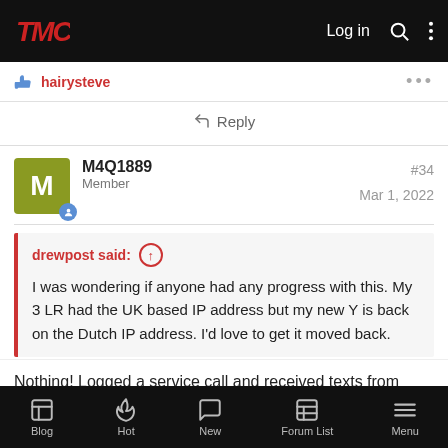TMC Log in
hairysteve
Reply
M4Q1889
Member
#34
Mar 1, 2022
drewpost said: ↑
I was wondering if anyone had any progress with this. My 3 LR had the UK based IP address but my new Y is back on the Dutch IP address. I'd love to get it moved back.
Nothing! Logged a service call and received texts from tesla
Blog Hot New Forum List Menu